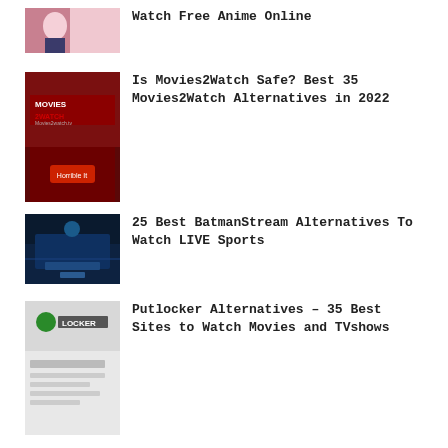[Figure (illustration): Anime artwork thumbnail - partial image of anime character]
Watch Free Anime Online
[Figure (screenshot): Movies2Watch website screenshot with dark red background and logo]
Is Movies2Watch Safe? Best 35 Movies2Watch Alternatives in 2022
[Figure (photo): Sports stadium at night with person holding phone]
25 Best BatmanStream Alternatives To Watch LIVE Sports
[Figure (screenshot): Putlocker website screenshot with green logo and form]
Putlocker Alternatives – 35 Best Sites to Watch Movies and TVshows
© 2022 Technedo.com
Disclaimer  Terms and Conditions  Write For Us